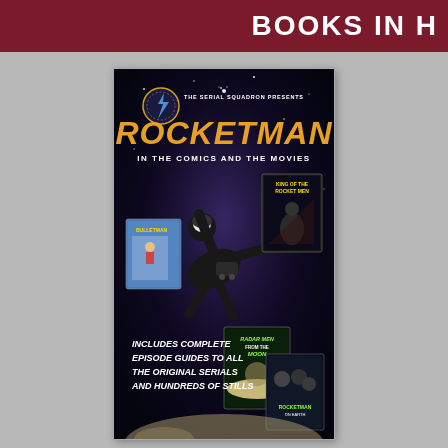BOOKS IN H
[Figure (illustration): Book cover for 'Rocketman in the Comics and the Movies' presented by The Serial Squadron. Features a figure in a black rocketman suit flying against a space background, with movie poster images for 'King of the Rocket Men', 'Radar Men from the Moon', and comic book covers. Text includes 'Includes complete episode guides to all the original serials and hundreds of stills'.]